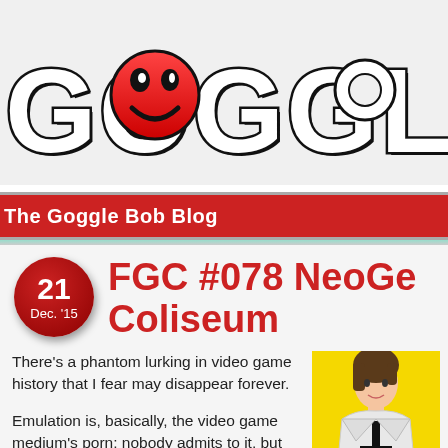GOGGLE BOB
The Goggle Bob Blog
FGC #078 NeoGe... Coliseum
There's a phantom lurking in video game history that I fear may disappear forever.

Emulation is, basically, the video game medium's porn: nobody admits to it, but everybody does it, and there's a stash on a thumb drive
[Figure (illustration): Anime-style character illustration on yellow background, young male in white jacket]